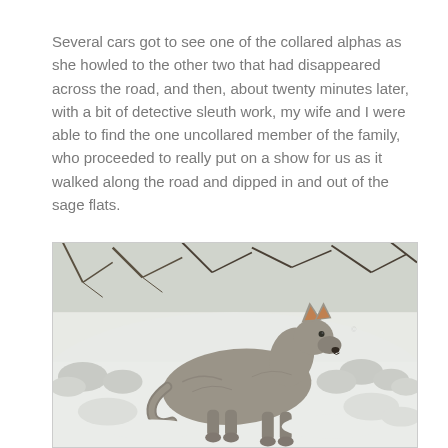Several cars got to see one of the collared alphas as she howled to the other two that had disappeared across the road, and then, about twenty minutes later, with a bit of detective sleuth work, my wife and I were able to find the one uncollared member of the family, who proceeded to really put on a show for us as it walked along the road and dipped in and out of the sage flats.
[Figure (photo): A gray wolf standing in a snowy landscape with bare shrubs and trees in the background. The wolf is shown in profile, facing right, with brown-tipped ears and thick grey fur.]